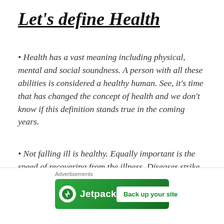Let's define Health
Health has a vast meaning including physical, mental and social soundness. A person with all these abilities is considered a healthy human. See, it's time that has changed the concept of health and we don't know if this definition stands true in the coming years.
Not falling ill is healthy. Equally important is the speed of recovering from the illness. Diseases strike all but the magnitude of impact differs from individual to individual. A healthy person has good
[Figure (other): Jetpack advertisement banner with green background, Jetpack logo icon, and 'Back up your site' button]